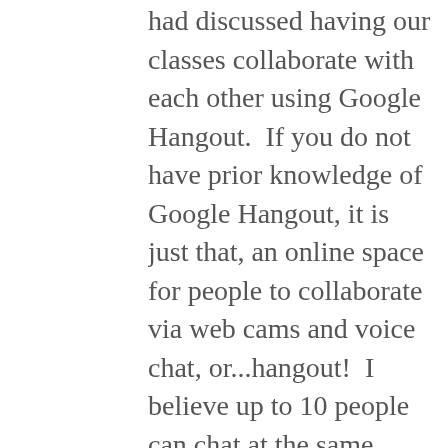had discussed having our classes collaborate with each other using Google Hangout.  If you do not have prior knowledge of Google Hangout, it is just that, an online space for people to collaborate via web cams and voice chat, or...hangout!  I believe up to 10 people can chat at the same time. The idea was brought on by our discussions we have had previously about using digital portfolios.  Eventually we decided we wanted our students to collaborate and discuss the myths that each our classrooms were reading and